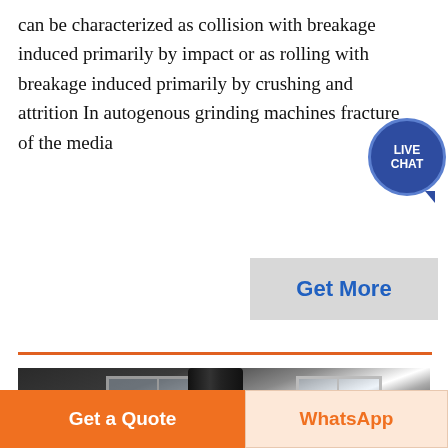can be characterized as collision with breakage induced primarily by impact or as rolling with breakage induced primarily by crushing and attrition In autogenous grinding machines fracture of the media
[Figure (other): Live Chat bubble icon in dark blue circle]
[Figure (other): Get More button in grey with blue text]
[Figure (photo): Industrial grinding mill machinery interior with large dark cylindrical drum, pipes, orange belt drive, and factory windows in background]
Get a Quote
WhatsApp